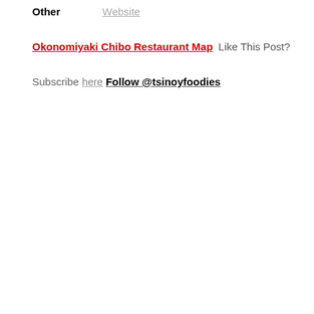Other   Website
Okonomiyaki Chibo Restaurant Map  Like This Post?
Subscribe here Follow @tsinoyfoodies